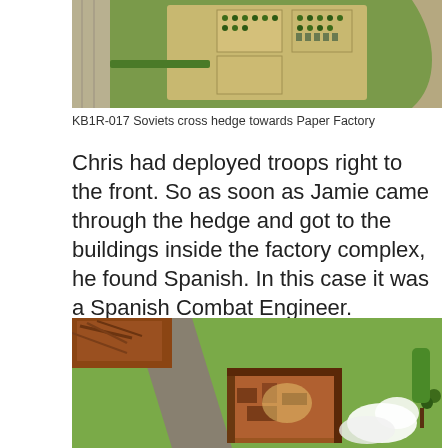[Figure (photo): Aerial view of miniature wargame terrain showing green fields with rectangular building complexes, small trees, and a road running along the left side]
KB1R-017 Soviets cross hedge towards Paper Factory
Chris had deployed troops right to the front. So as soon as Jamie came through the hedge and got to the buildings inside the factory complex, he found Spanish. In this case it was a Spanish Combat Engineer.
[Figure (photo): Close-up photo of miniature wargame terrain showing bombed/ruined building with debris, a road, green grass areas, and white smoke marker on the right side]